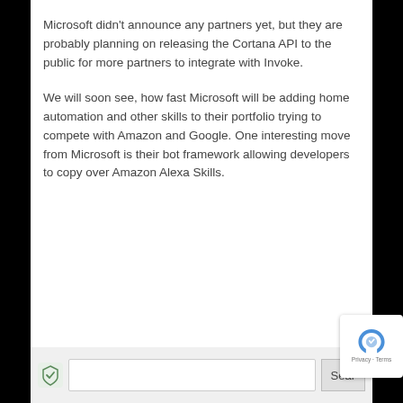Microsoft didn't announce any partners yet, but they are probably planning on releasing the Cortana API to the public for more partners to integrate with Invoke.
We will soon see, how fast Microsoft will be adding home automation and other skills to their portfolio trying to compete with Amazon and Google. One interesting move from Microsoft is their bot framework allowing developers to copy over Amazon Alexa Skills.
Search